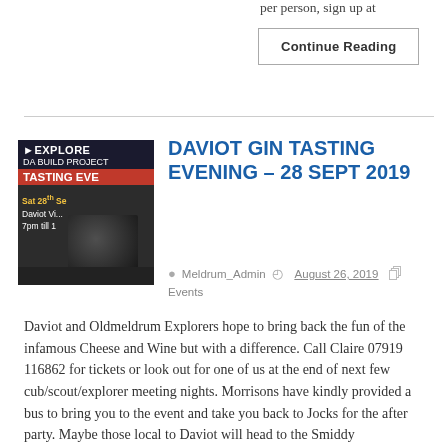per person, sign up at
Continue Reading
[Figure (illustration): Thumbnail image for Daviot Gin Tasting Evening event showing EXPLORE DA BUILD PROJECT header, TASTING EVE in red, and a dark event image with yellow text: Sat 28th Sep, Daviot Village, 7pm till 1]
DAVIOT GIN TASTING EVENING – 28 SEPT 2019
Meldrum_Admin   August 26, 2019
Events
Daviot and Oldmeldrum Explorers hope to bring back the fun of the infamous Cheese and Wine but with a difference. Call Claire 07919 116862 for tickets or look out for one of us at the end of next few cub/scout/explorer meeting nights. Morrisons have kindly provided a bus to bring you to the event and take you back to Jocks for the after party. Maybe those local to Daviot will head to the Smiddy